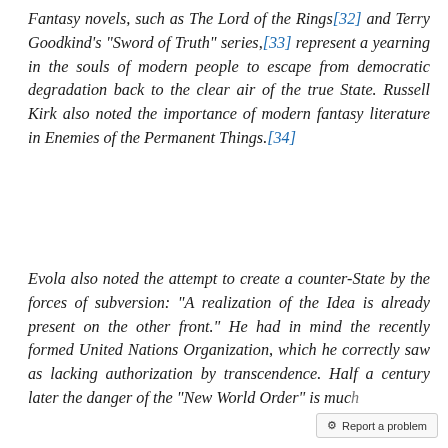Fantasy novels, such as The Lord of the Rings[32] and Terry Goodkind's "Sword of Truth" series,[33] represent a yearning in the souls of modern people to escape from democratic degradation back to the clear air of the true State. Russell Kirk also noted the importance of modern fantasy literature in Enemies of the Permanent Things.[34]
Evola also noted the attempt to create a counter-State by the forces of subversion: "A realization of the Idea is already present on the other front." He had in mind the recently formed United Nations Organization, which he correctly saw as lacking authorization by transcendence. Half a century later the danger of the "New World Order" is much...